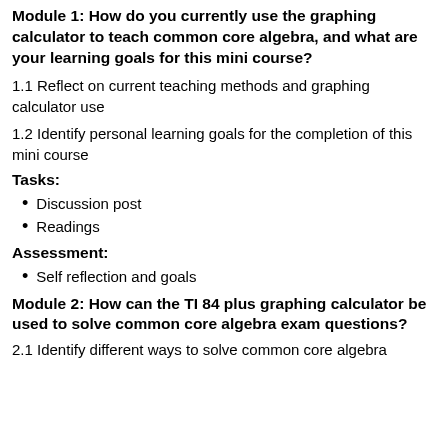Module 1: How do you currently use the graphing calculator to teach common core algebra, and what are your learning goals for this mini course?
1.1 Reflect on current teaching methods and graphing calculator use
1.2 Identify personal learning goals for the completion of this mini course
Tasks:
Discussion post
Readings
Assessment:
Self reflection and goals
Module 2: How can the TI 84 plus graphing calculator be used to solve common core algebra exam questions?
2.1 Identify different ways to solve common core algebra